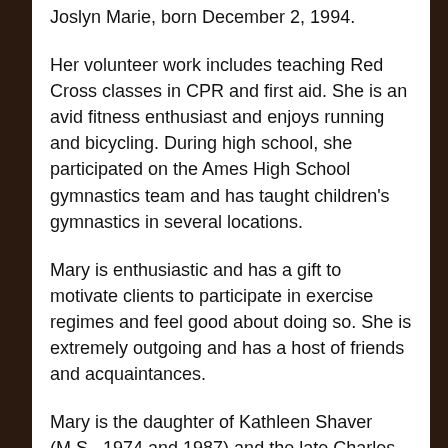Joslyn Marie, born December 2, 1994.
Her volunteer work includes teaching Red Cross classes in CPR and first aid. She is an avid fitness enthusiast and enjoys running and bicycling. During high school, she participated on the Ames High School gymnastics team and has taught children's gymnastics in several locations.
Mary is enthusiastic and has a gift to motivate clients to participate in exercise regimes and feel good about doing so. She is extremely outgoing and has a host of friends and acquaintances.
Mary is the daughter of Kathleen Shaver (M.S., 1974 and 1987) and the late Charles Shaver (B.S., 1953). Other family members who are ISU graduates are her sister, Sally Shaver (B.S., 1986); brother, David Shaver (B.S., 1990); cousins: